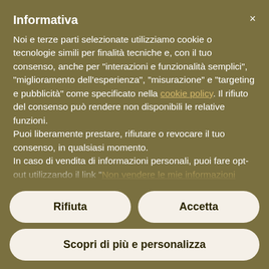Informativa
Noi e terze parti selezionate utilizziamo cookie o tecnologie simili per finalità tecniche e, con il tuo consenso, anche per "interazioni e funzionalità semplici", "miglioramento dell'esperienza", "misurazione" e "targeting e pubblicità" come specificato nella cookie policy. Il rifiuto del consenso può rendere non disponibili le relative funzioni.
Puoi liberamente prestare, rifiutare o revocare il tuo consenso, in qualsiasi momento.
In caso di vendita di informazioni personali, puoi fare opt-out utilizzando il link "Non vendere le mie informazioni personali".
Per saperne di più sulle categorie di informazioni personali raccolte e sulle finalità per le quali tali informazioni saranno
Rifiuta
Accetta
Scopri di più e personalizza